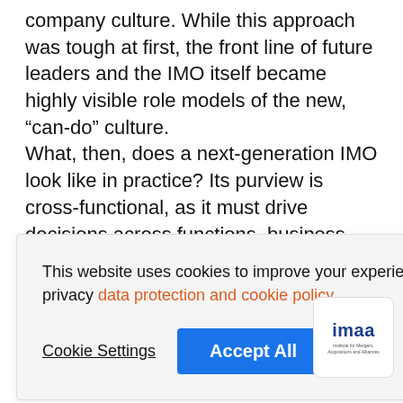company culture. While this approach was tough at first, the front line of future leaders and the IMO itself became highly visible role models of the new, “can-do” culture. What, then, does a next-generation IMO look like in practice? Its purview is cross-functional, as it must drive decisions across functions, business units, and divisions at a faster pace
This website uses cookies to improve your experience. To find out more, read our data privacy data protection and cookie policy
Cookie Settings
Accept All
[Figure (logo): IMAA logo - Institute for Mergers, Acquisitions and Alliances]
The IMO is the “orchestra” of the